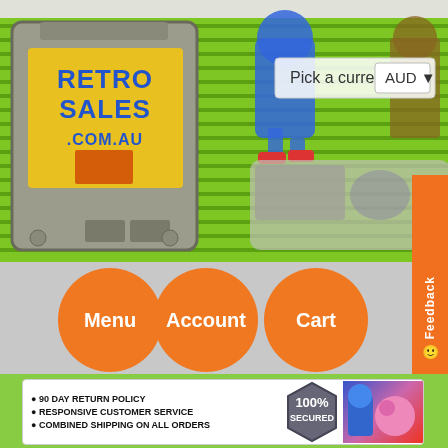[Figure (screenshot): Retro Sales .com.au website header with game cartridge logo, Sonic character, pixel art characters, currency picker showing AUD, green striped background]
[Figure (infographic): Navigation buttons: Menu, Account, Cart as orange circles on grey background]
[Figure (infographic): Info banner: 90 DAY RETURN POLICY, RESPONSIVE CUSTOMER SERVICE, COMBINED SHIPPING ON ALL ORDERS with 100% SECURED badge and pixel game characters]
Home » All Products » V-Rally
All Products - Items tagged as "V-Rally"